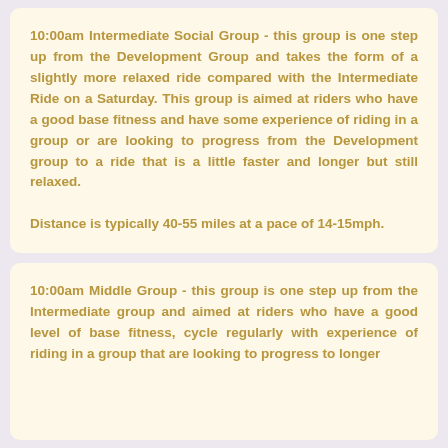10:00am Intermediate Social Group - this group is one step up from the Development Group and takes the form of a slightly more relaxed ride compared with the Intermediate Ride on a Saturday. This group is aimed at riders who have a good base fitness and have some experience of riding in a group or are looking to progress from the Development group to a ride that is a little faster and longer but still relaxed.

Distance is typically 40-55 miles at a pace of 14-15mph.
10:00am Middle Group - this group is one step up from the Intermediate group and aimed at riders who have a good level of base fitness, cycle regularly with experience of riding in a group that are looking to progress to longer